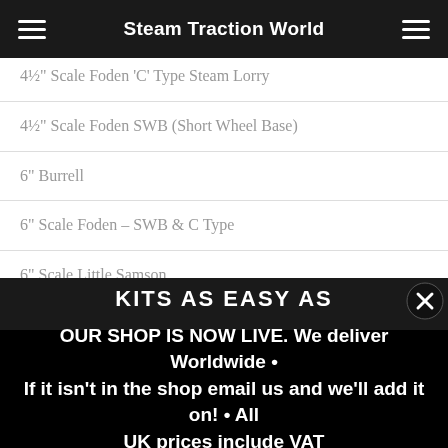Steam Traction World
4½" Scale Foden 'C' Type Steam Lorry
4½" Scale Foden SWB (Short Wheel Base)
6" Burrell
6" Scale Foden – SWB & C Type
6" Scale Little Samson
Lykamobile
KITS AS EASY AS
OUR SHOP IS NOW LIVE. We deliver Worldwide • If it isn't in the shop email us and we'll add it on! • All UK prices include VAT